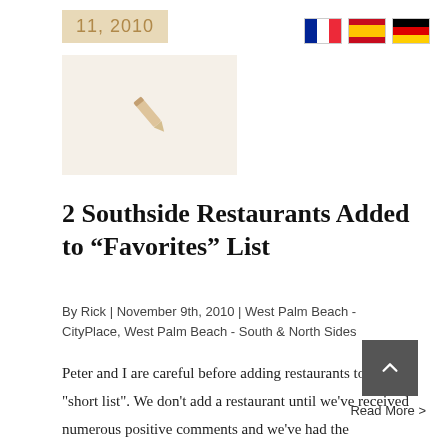11, 2010
[Figure (illustration): Small pencil icon on a light beige/cream background]
2 Southside Restaurants Added to “Favorites” List
By Rick | November 9th, 2010 | West Palm Beach - CityPlace, West Palm Beach - South & North Sides
Peter and I are careful before adding restaurants to our "short list". We don’t add a restaurant until we’ve received numerous positive comments and we’ve had the opportunity to try out the establishment ourselves. Over the last 6 months, we’ve [...]
Read More >